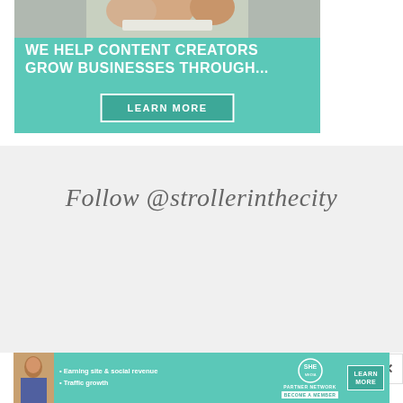[Figure (infographic): Teal advertisement banner with photo of people working on laptops at top, bold white text 'WE HELP CONTENT CREATORS GROW BUSINESSES THROUGH...' and a 'LEARN MORE' button]
Follow @strollerinthecity
[Figure (infographic): Bottom teal SHE Partner Network advertisement with woman photo, bullet points 'Earning site & social revenue' and 'Traffic growth', SHE logo, LEARN MORE button and BECOME A MEMBER badge. Has an X close button.]